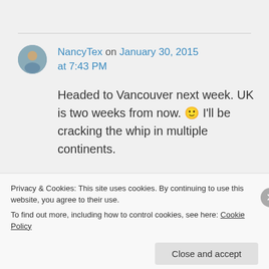NancyTex on January 30, 2015 at 7:43 PM
Headed to Vancouver next week. UK is two weeks from now. 🙂 I'll be cracking the whip in multiple continents.
Log in to Reply
Privacy & Cookies: This site uses cookies. By continuing to use this website, you agree to their use.
To find out more, including how to control cookies, see here: Cookie Policy